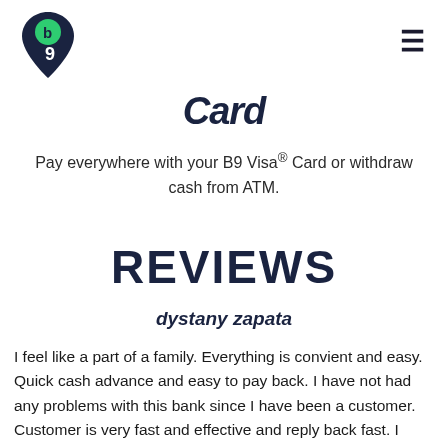[Figure (logo): B9 logo: dark navy teardrop/map-pin shape with a green circle containing letter b and the number 9]
Card
Pay everywhere with your B9 Visa® Card or withdraw cash from ATM.
REVIEWS
dystany zapata
I feel like a part of a family. Everything is convient and easy. Quick cash advance and easy to pay back. I have not had any problems with this bank since I have been a customer. Customer is very fast and effective and reply back fast. I would highly recommend this bank to family and friends